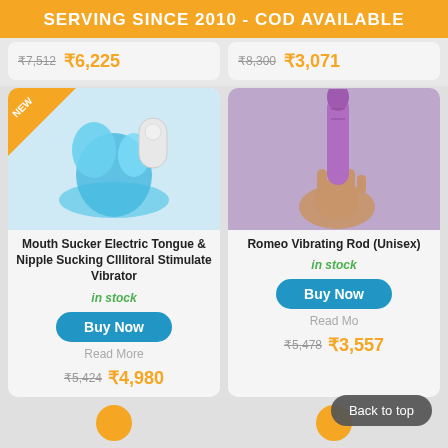SERVING SINCE 2010 - COD AVAILABLE
₹7,512  ₹6,225
₹8,300  ₹3,071
[Figure (photo): Blue metallic mouth sucker electric vibrator product with white remote]
Mouth Sucker Electric Tongue & Nipple Sucking Clitoral Stimulate Vibrator
in stock
Buy Now
Read More
₹5,424  ₹4,980
[Figure (photo): Hand holding a purple Romeo Vibrating Rod (Unisex)]
Romeo Vibrating Rod (Unisex)
in stock
Buy Now
Read More
₹5,478  ₹3,557
Back to top